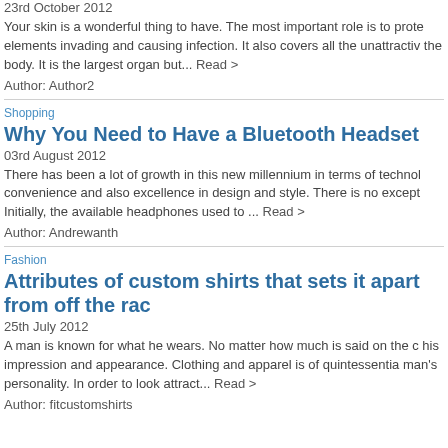23rd October 2012
Your skin is a wonderful thing to have. The most important role is to protect elements invading and causing infection. It also covers all the unattractive the body. It is the largest organ but... Read >
Author: Author2
Shopping
Why You Need to Have a Bluetooth Headset
03rd August 2012
There has been a lot of growth in this new millennium in terms of techno convenience and also excellence in design and style. There is no except Initially, the available headphones used to ... Read >
Author: Andrewanth
Fashion
Attributes of custom shirts that sets it apart from off the ra
25th July 2012
A man is known for what he wears. No matter how much is said on the c his impression and appearance. Clothing and apparel is of quintessentia man's personality. In order to look attract... Read >
Author: fitcustomshirts